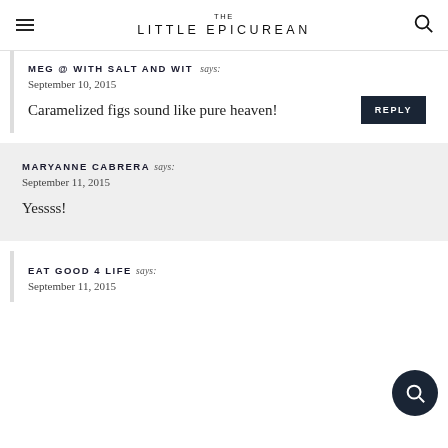THE LITTLE EPICUREAN
MEG @ WITH SALT AND WIT says:
September 10, 2015
Caramelized figs sound like pure heaven!
MARYANNE CABRERA says:
September 11, 2015
Yessss!
EAT GOOD 4 LIFE says:
September 11, 2015